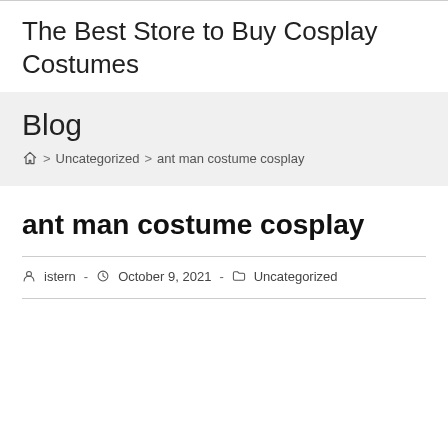The Best Store to Buy Cosplay Costumes
Blog
Home > Uncategorized > ant man costume cosplay
ant man costume cosplay
istern - October 9, 2021 - Uncategorized